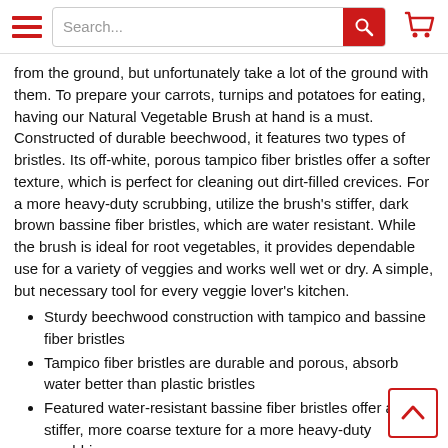Search...
from the ground, but unfortunately take a lot of the ground with them. To prepare your carrots, turnips and potatoes for eating, having our Natural Vegetable Brush at hand is a must. Constructed of durable beechwood, it features two types of bristles. Its off-white, porous tampico fiber bristles offer a softer texture, which is perfect for cleaning out dirt-filled crevices. For a more heavy-duty scrubbing, utilize the brush's stiffer, dark brown bassine fiber bristles, which are water resistant. While the brush is ideal for root vegetables, it provides dependable use for a variety of veggies and works well wet or dry. A simple, but necessary tool for every veggie lover's kitchen.
Sturdy beechwood construction with tampico and bassine fiber bristles
Tampico fiber bristles are durable and porous, absorb water better than plastic bristles
Featured water-resistant bassine fiber bristles offer a stiffer, more coarse texture for a more heavy-duty scrubbing
Perfect for cleaning a variety of vegetables, especially root vegetables; Works well wet and dry to avoid waterlogging
Product Weight: 0.138 lbs